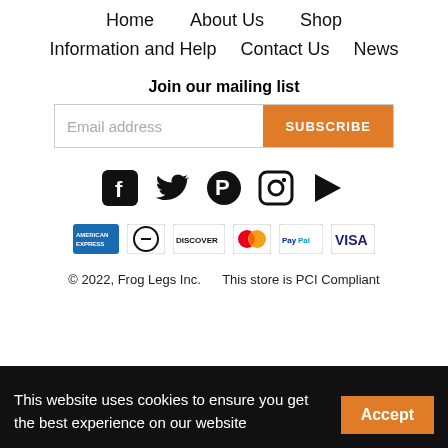Home   About Us   Shop
Information and Help   Contact Us   News
Join our mailing list
[Figure (infographic): Email address input field with orange SUBSCRIBE button]
[Figure (infographic): Social media icons: Facebook, Twitter, Pinterest, Instagram, YouTube]
[Figure (infographic): Payment method logos: American Express, Diners Club, Discover, MasterCard, PayPal, VISA]
© 2022, Frog Legs Inc.    This store is PCI Compliant
This website uses cookies to ensure you get the best experience on our website